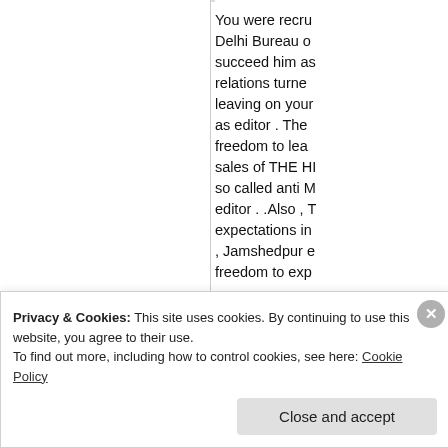Sundar R
May 1, 2014
[Figure (logo): Blue decorative icon with arrows and snowflake/cross pattern]
You were recru... Delhi Bureau o... succeed him as... relations turne... leaving on your... as editor . The ... freedom to lea... sales of THE HI... so called anti M... editor . .Also , T... expectations in... , Jamshedpur e... freedom to exp...
Privacy & Cookies: This site uses cookies. By continuing to use this website, you agree to their use.
To find out more, including how to control cookies, see here: Cookie Policy
Close and accept